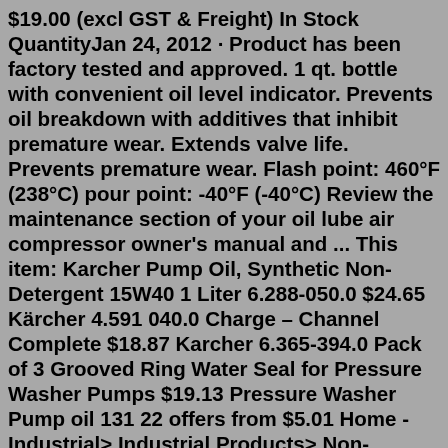$19.00 (excl GST & Freight) In Stock QuantityJan 24, 2012 · Product has been factory tested and approved. 1 qt. bottle with convenient oil level indicator. Prevents oil breakdown with additives that inhibit premature wear. Extends valve life. Prevents premature wear. Flash point: 460°F (238°C) pour point: -40°F (-40°C) Review the maintenance section of your oil lube air compressor owner's manual and ... This item: Karcher Pump Oil, Synthetic Non-Detergent 15W40 1 Liter 6.288-050.0 $24.65 Kärcher 4.591 040.0 Charge – Channel Complete $18.87 Karcher 6.365-394.0 Pack of 3 Grooved Ring Water Seal for Pressure Washer Pumps $19.13 Pressure Washer Pump oil 131 22 offers from $5.01 Home - Industrial> Industrial Products> Non-Detergent Motor Oils> Non-Detergent 10W Non-Detergent 10W SAE 10W, Motor oil Available Sizes 5 gallon pail Drum CTN 12/1 qt bottles Available to purchase online Product Highlights High Viscosity Index High Flash and Fire Points Extra Clean Motor Oils Where to Buy FindDenver that to and to motor oil will